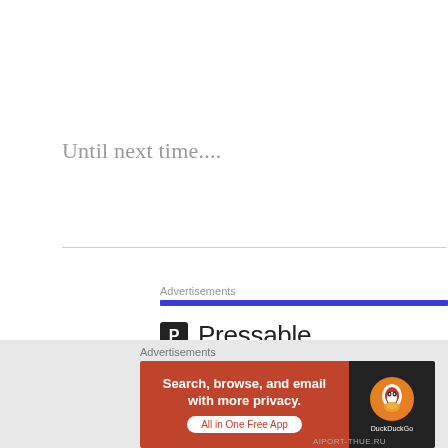Until next time....
Advertisements
[Figure (logo): Pressable logo: black P in a box followed by the word Pressable in dark sans-serif]
Advertisements
[Figure (illustration): DuckDuckGo banner ad: orange-red left panel with text 'Search, browse, and email with more privacy. All in One Free App' and dark right panel with DuckDuckGo duck logo and wordmark]
AIPORT-THUE.RU